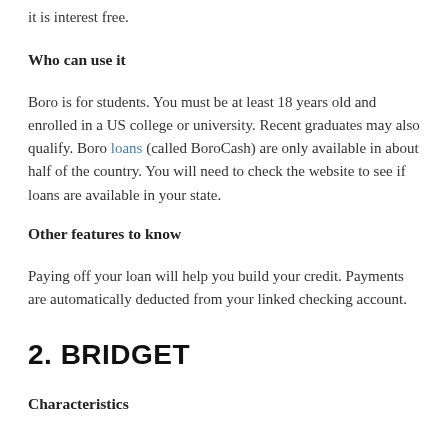it is interest free.
Who can use it
Boro is for students. You must be at least 18 years old and enrolled in a US college or university. Recent graduates may also qualify. Boro loans (called BoroCash) are only available in about half of the country. You will need to check the website to see if loans are available in your state.
Other features to know
Paying off your loan will help you build your credit. Payments are automatically deducted from your linked checking account.
2. BRIDGET
Characteristics